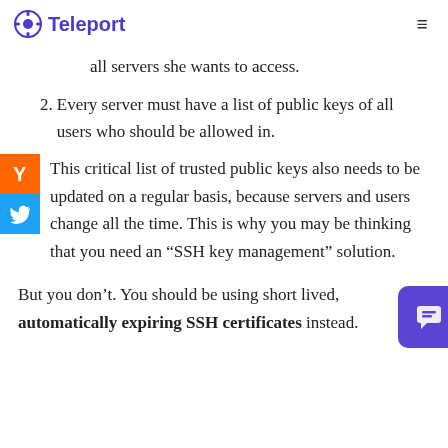Teleport
all servers she wants to access.
2. Every server must have a list of public keys of all users who should be allowed in.
This critical list of trusted public keys also needs to be updated on a regular basis, because servers and users change all the time. This is why you may be thinking that you need an “SSH key management” solution.
But you don’t. You should be using short lived, automatically expiring SSH certificates instead.